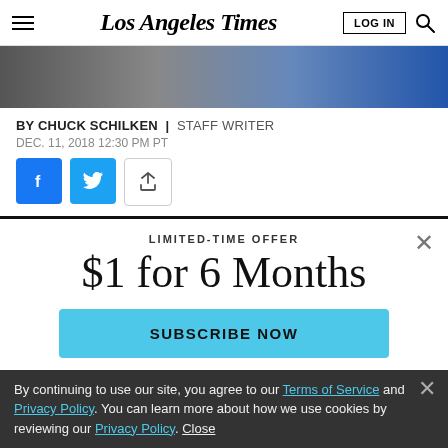Los Angeles Times
[Figure (photo): Partial photo strip showing people, cropped from top]
BY CHUCK SCHILKEN | STAFF WRITER
DEC. 11, 2018 12:30 PM PT
[Figure (other): Social sharing buttons: Facebook, Twitter, Share]
LIMITED-TIME OFFER
$1 for 6 Months
SUBSCRIBE NOW
By continuing to use our site, you agree to our Terms of Service and Privacy Policy. You can learn more about how we use cookies by reviewing our Privacy Policy. Close